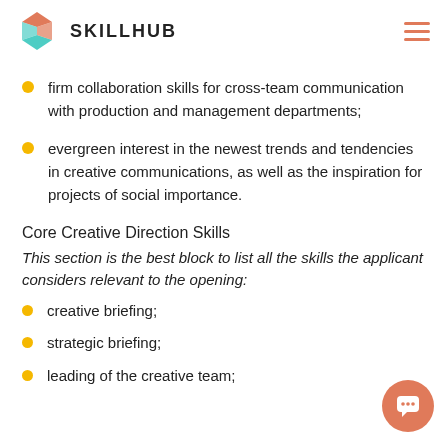SKILLHUB
firm collaboration skills for cross-team communication with production and management departments;
evergreen interest in the newest trends and tendencies in creative communications, as well as the inspiration for projects of social importance.
Core Creative Direction Skills
This section is the best block to list all the skills the applicant considers relevant to the opening:
creative briefing;
strategic briefing;
leading of the creative team;